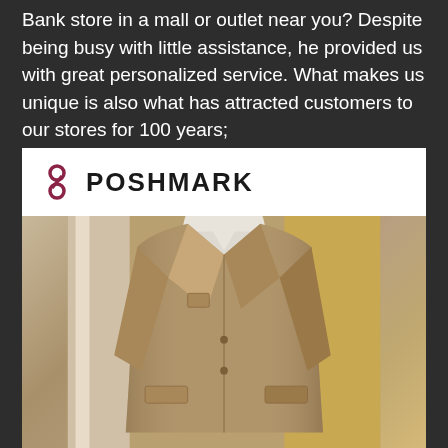Bank store in a mall or outlet near you? Despite being busy with little assistance, he provided us with great personalized service. What makes us unique is also what has attracted customers to our stores for 100 years;
[Figure (photo): Poshmark listing photo showing a tan/camel blazer sport coat on a mannequin, with the Poshmark logo and wordmark in the upper left corner of the image.]